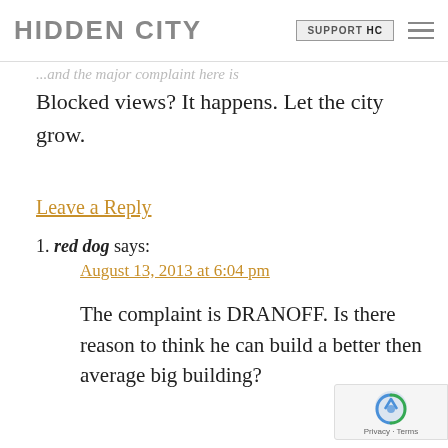HIDDEN CITY | SUPPORT HC
... and the major complaint here is Blocked views? It happens. Let the city grow.
Leave a Reply
1. red dog says:
August 13, 2013 at 6:04 pm

The complaint is DRANOFF. Is there reason to think he can build a better then average big building?